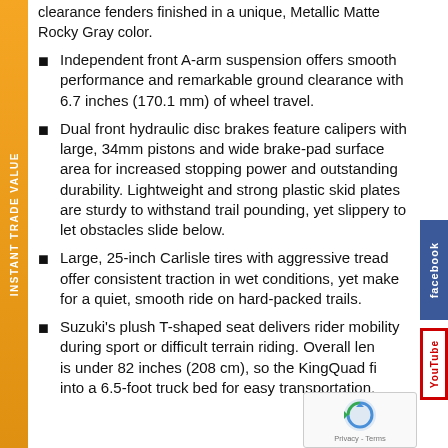clearance fenders finished in a unique, Metallic Matte Rocky Gray color.
Independent front A-arm suspension offers smooth performance and remarkable ground clearance with 6.7 inches (170.1 mm) of wheel travel.
Dual front hydraulic disc brakes feature calipers with large, 34mm pistons and wide brake-pad surface area for increased stopping power and outstanding durability. Lightweight and strong plastic skid plates are sturdy to withstand trail pounding, yet slippery to let obstacles slide below.
Large, 25-inch Carlisle tires with aggressive tread offer consistent traction in wet conditions, yet make for a quiet, smooth ride on hard-packed trails.
Suzuki's plush T-shaped seat delivers rider mobility during sport or difficult terrain riding. Overall length is under 82 inches (208 cm), so the KingQuad fits into a 6.5-foot truck bed for easy transportation.